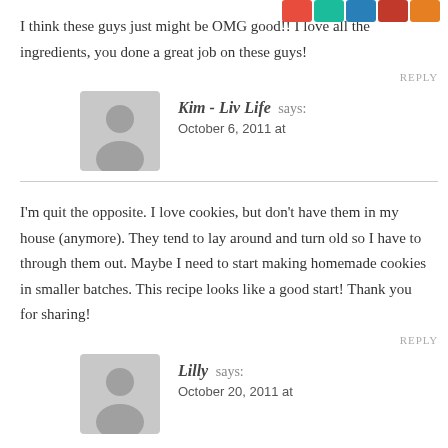[Figure (other): Social sharing icon buttons (red, teal, blue, dark red, orange) in top right corner]
I think these guys just might be OMG good!! I love all the ingredients, you done a great job on these guys!
REPLY
[Figure (other): Generic user avatar placeholder (gray silhouette of person)]
Kim - Liv Life says:
October 6, 2011 at
I'm quit the opposite. I love cookies, but don't have them in my house (anymore). They tend to lay around and turn old so I have to through them out. Maybe I need to start making homemade cookies in smaller batches. This recipe looks like a good start! Thank you for sharing!
REPLY
[Figure (other): Generic user avatar placeholder (gray silhouette of person)]
Lilly says:
October 20, 2011 at